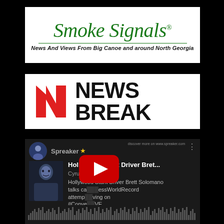[Figure (logo): Smoke Signals logo — green italic cursive text 'Smoke Signals' with registered trademark, horizontal green rule, and italic tagline 'News And Views From Big Canoe and around North Georgia']
[Figure (logo): News Break logo — red geometric N icon on left with bold black text 'NEWS BREAK' on white background]
[Figure (screenshot): Spreaker podcast player screenshot showing episode 'Hollywood Stunt Driver Bret...' by Cyrus Webb. Description: 'Hollywood Stunt Driver Brett Solomano talks ca...essWorldRecord attemp...ving on #Conve...VE'. Includes YouTube play button overlay and audio waveform at bottom.]